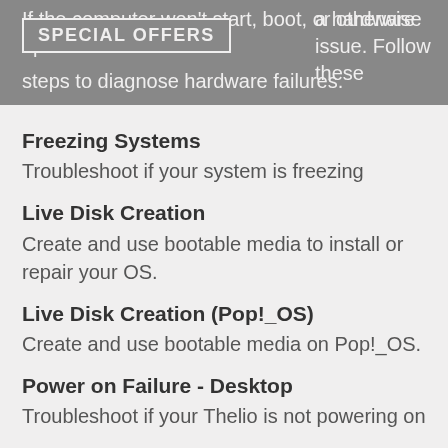If the computer won't start, boot, or otherwise operate normally, it's a hardware issue. Follow these steps to diagnose hardware failures.
Freezing Systems
Troubleshoot if your system is freezing
Live Disk Creation
Create and use bootable media to install or repair your OS.
Live Disk Creation (Pop!_OS)
Create and use bootable media on Pop!_OS.
Power on Failure - Desktop
Troubleshoot if your Thelio is not powering on
Power on Failure - Laptop
Troubleshoot if your Laptop is not powering on
Reboots (Unexpected)